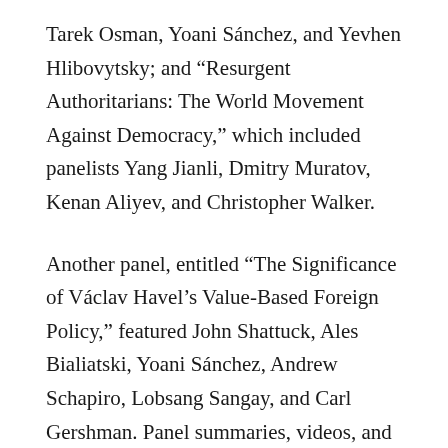Tarek Osman, Yoani Sánchez, and Yevhen Hlibovytsky; and “Resurgent Authoritarians: The World Movement Against Democracy,” which included panelists Yang Jianli, Dmitry Muratov, Kenan Aliyev, and Christopher Walker.
Another panel, entitled “The Significance of Václav Havel’s Value-Based Foreign Policy,” featured John Shattuck, Ales Bialiatski, Yoani Sánchez, Andrew Schapiro, Lobsang Sangay, and Carl Gershman. Panel summaries, videos, and transcripts of major speeches are available at www.forum2000.cz.